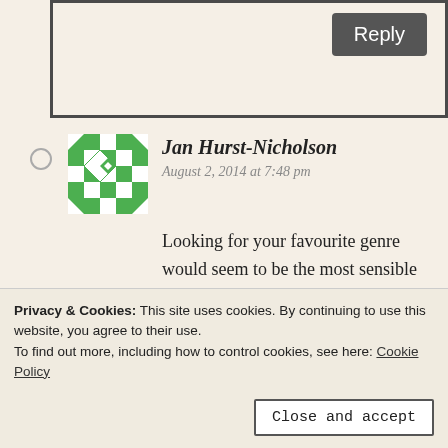[Figure (other): Reply button area — a bordered text input box with a dark grey 'Reply' button in the top right corner]
[Figure (illustration): Green pixelated/geometric avatar icon for Jan Hurst-Nicholson, resembling a mosaic pattern with diamond shapes]
Jan Hurst-Nicholson
August 2, 2014 at 7:48 pm
Looking for your favourite genre would seem to be the most sensible method – but it does preclude serendipity, which is how I've discovered new authors when rifling through a table of 'bargain books' 🙂
be straightforward to search for a
Privacy & Cookies: This site uses cookies. By continuing to use this website, you agree to their use.
To find out more, including how to control cookies, see here: Cookie Policy
Close and accept